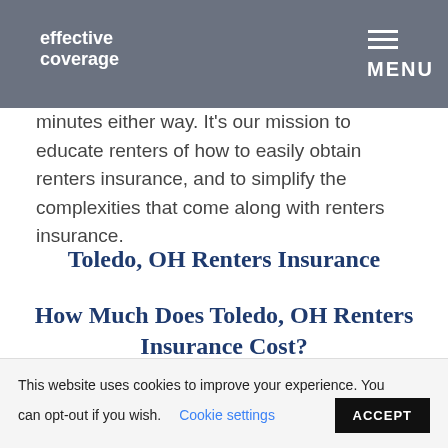effective coverage
Call one of our Ohio Renters Insurance experts, or use our self-service portal online and receive a competitive quote for Toledo renters insurance in 5 minutes either way. It's our mission to educate renters of how to easily obtain renters insurance, and to simplify the complexities that come along with renters insurance.
Toledo, OH Renters Insurance
How Much Does Toledo, OH Renters Insurance Cost?
This website uses cookies to improve your experience. You can opt-out if you wish. Cookie settings ACCEPT